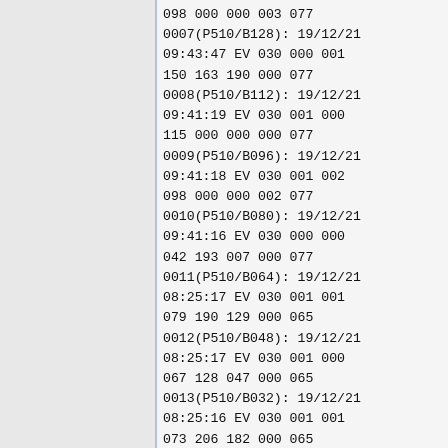098 000 000 003 077
0007(P510/B128): 19/12/21
09:43:47 EV 030 000 001
150 163 190 000 077
0008(P510/B112): 19/12/21
09:41:19 EV 030 001 000
115 000 000 000 077
0009(P510/B096): 19/12/21
09:41:18 EV 030 001 002
098 000 000 002 077
0010(P510/B080): 19/12/21
09:41:16 EV 030 000 000
042 193 007 000 077
0011(P510/B064): 19/12/21
08:25:17 EV 030 001 001
079 190 129 000 065
0012(P510/B048): 19/12/21
08:25:17 EV 030 001 000
067 128 047 000 065
0013(P510/B032): 19/12/21
08:25:16 EV 030 001 001
073 206 182 000 065
0014(P510/B016): 19/12/21
08:19:45 EV 200 000 000
008 000 001 000 118